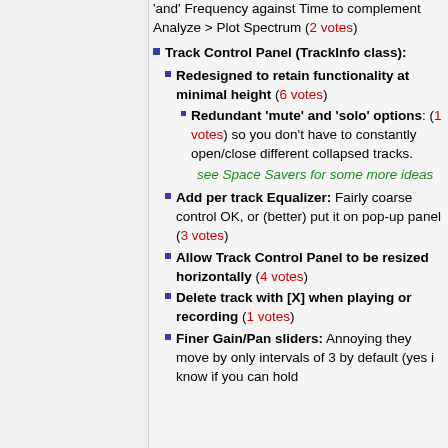'and' Frequency against Time to complement Analyze > Plot Spectrum (2 votes)
Track Control Panel (TrackInfo class):
Redesigned to retain functionality at minimal height (6 votes)
Redundant 'mute' and 'solo' options: (1 votes) so you don't have to constantly open/close different collapsed tracks.
see Space Savers for some more ideas
Add per track Equalizer: Fairly coarse control OK, or (better) put it on pop-up panel (3 votes)
Allow Track Control Panel to be resized horizontally (4 votes)
Delete track with [X] when playing or recording (1 votes)
Finer Gain/Pan sliders: Annoying they move by only intervals of 3 by default (yes i know if you can hold